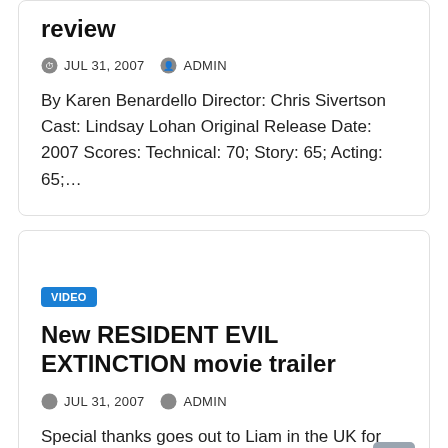review
JUL 31, 2007   ADMIN
By Karen Benardello Director: Chris Sivertson Cast: Lindsay Lohan Original Release Date: 2007 Scores: Technical: 70; Story: 65; Acting: 65;…
VIDEO
New RESIDENT EVIL EXTINCTION movie trailer
JUL 31, 2007   ADMIN
Special thanks goes out to Liam in the UK for sending us the latest Resident Evil Trailer.